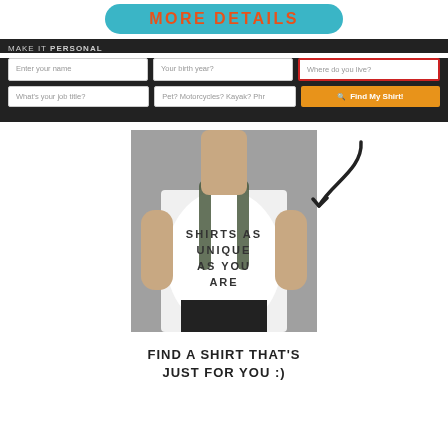MORE DETAILS
MAKE IT PERSONAL
Enter your name | Your birth year? | Where do you live? | What's your job title? | Pet? Motorcycles? Kayak? Phr | Find My Shirt!
[Figure (photo): Man wearing a white t-shirt with text 'SHIRTS AS UNIQUE AS YOU ARE', carrying a backpack. An arrow points to the shirt from the right side.]
FIND A SHIRT THAT'S JUST FOR YOU :)